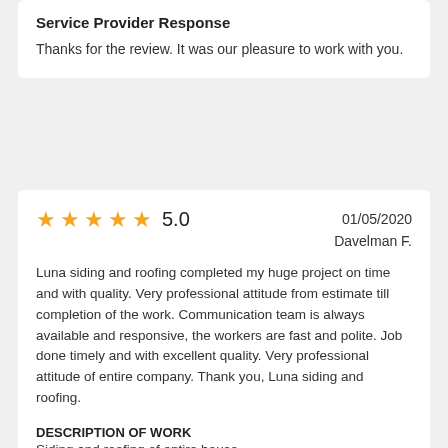Service Provider Response
Thanks for the review. It was our pleasure to work with you.
5.0   01/05/2020   Davelman F.
Luna siding and roofing completed my huge project on time and with quality. Very professional attitude from estimate till completion of the work. Communication team is always available and responsive, the workers are fast and polite. Job done timely and with excellent quality. Very professional attitude of entire company. Thank you, Luna siding and roofing.
DESCRIPTION OF WORK
Siding and roofing of entire house